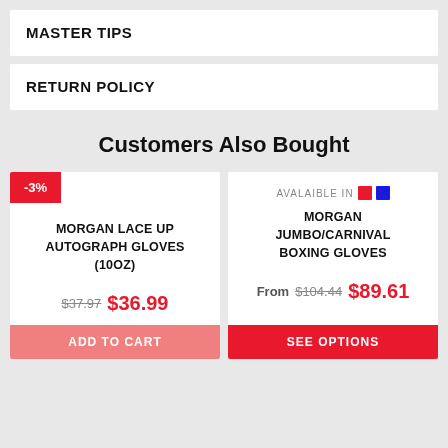MASTER TIPS
RETURN POLICY
Customers Also Bought
-3%
MORGAN LACE UP AUTOGRAPH GLOVES (10oz)
$37.97 $36.99
ADD TO CART
AVALAIBLE IN
MORGAN JUMBO/CARNIVAL BOXING GLOVES
From $104.44 $89.61
SEE OPTIONS